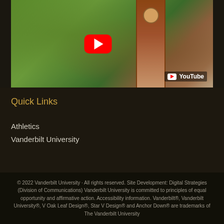[Figure (screenshot): YouTube video thumbnail showing aerial view of Vanderbilt University campus with a brick clock tower, green trees, and a red YouTube play button overlay. YouTube logo badge in lower right corner.]
Quick Links
Athletics
Vanderbilt University
© 2022 Vanderbilt University · All rights reserved. Site Development: Digital Strategies (Division of Communications) Vanderbilt University is committed to principles of equal opportunity and affirmative action. Accessibility information. Vanderbilt®, Vanderbilt University®, V Oak Leaf Design®, Star V Design® and Anchor Down® are trademarks of The Vanderbilt University